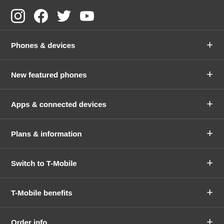[Figure (illustration): Social media icons: Instagram, Facebook, Twitter, YouTube]
Phones & devices
New featured phones
Apps & connected devices
Plans & information
Switch to T-Mobile
T-Mobile benefits
Order info